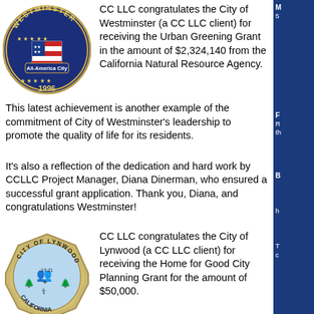[Figure (logo): City of Westminster seal - circular badge with stars, shield bearing American flag stripes, 'All-America City' banner, and '1996' at bottom, on blue background]
CC LLC congratulates the City of Westminster (a CC LLC client) for receiving the Urban Greening Grant in the amount of $2,324,140 from the California Natural Resource Agency.
This latest achievement is another example of the commitment of City of Westminster's leadership to promote the quality of life for its residents.
It's also a reflection of the dedication and hard work by CCLLC Project Manager, Diana Dinerman, who ensured a successful grant application. Thank you, Diana, and congratulations Westminster!
[Figure (logo): City of Lynwood seal - octagonal badge with 'CITY OF LYNWOOD CALIFORNIA' text, figures and nature imagery, light blue center, metallic border]
CC LLC congratulates the City of Lynwood (a CC LLC client) for receiving the Home for Good City Planning Grant for the amount of $50,000.
This latest achievement is another example of the commitment of